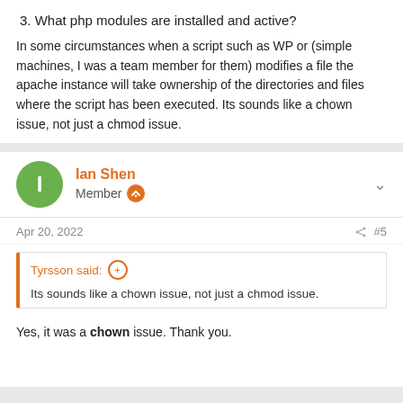3. What php modules are installed and active?
In some circumstances when a script such as WP or (simple machines, I was a team member for them) modifies a file the apache instance will take ownership of the directories and files where the script has been executed. Its sounds like a chown issue, not just a chmod issue.
Ian Shen
Member
Apr 20, 2022  #5
Tyrsson said:
Its sounds like a chown issue, not just a chmod issue.
Yes, it was a chown issue. Thank you.